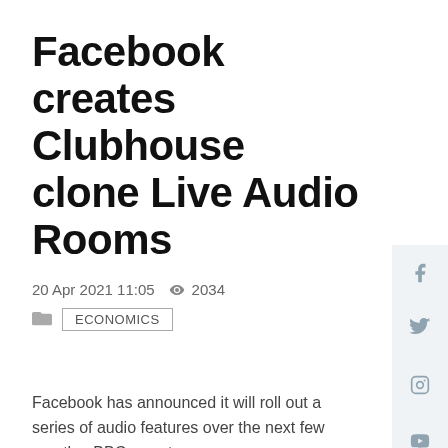Facebook creates Clubhouse clone Live Audio Rooms
20 Apr 2021 11:05   2034   ECONOMICS
Facebook has announced it will roll out a series of audio features over the next few months, BBC reports.
This includes Live Audio Rooms, its version of the popular app Clubhouse that allows people to listen and participate in live conversations.
Audio-only networks have become increasingly popular during the